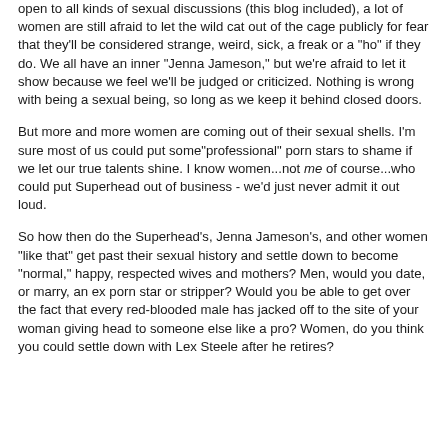open to all kinds of sexual discussions (this blog included), a lot of women are still afraid to let the wild cat out of the cage publicly for fear that they'll be considered strange, weird, sick, a freak or a "ho" if they do. We all have an inner "Jenna Jameson," but we're afraid to let it show because we feel we'll be judged or criticized. Nothing is wrong with being a sexual being, so long as we keep it behind closed doors.
But more and more women are coming out of their sexual shells. I'm sure most of us could put some"professional" porn stars to shame if we let our true talents shine. I know women...not me of course...who could put Superhead out of business - we'd just never admit it out loud.
So how then do the Superhead's, Jenna Jameson's, and other women "like that" get past their sexual history and settle down to become "normal," happy, respected wives and mothers? Men, would you date, or marry, an ex porn star or stripper? Would you be able to get over the fact that every red-blooded male has jacked off to the site of your woman giving head to someone else like a pro? Women, do you think you could settle down with Lex Steele after he retires?